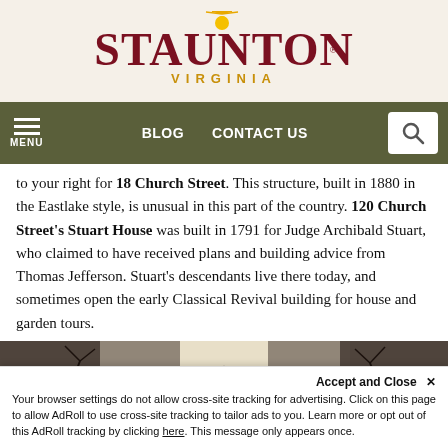[Figure (logo): Staunton Virginia city logo with decorative serif lettering and sunburst above the letter A]
[Figure (screenshot): Navigation bar with hamburger menu, BLOG and CONTACT US links, and search icon on olive/dark green background]
to your right for 18 Church Street. This structure, built in 1880 in the Eastlake style, is unusual in this part of the country. 120 Church Street's Stuart House was built in 1791 for Judge Archibald Stuart, who claimed to have received plans and building advice from Thomas Jefferson. Stuart's descendants live there today, and sometimes open the early Classical Revival building for house and garden tours.
[Figure (photo): Photograph of a historic building rooftop with triangular pediment, bare winter trees on left and right, pale sky background]
Accept and Close ×
Your browser settings do not allow cross-site tracking for advertising. Click on this page to allow AdRoll to use cross-site tracking to tailor ads to you. Learn more or opt out of this AdRoll tracking by clicking here. This message only appears once.